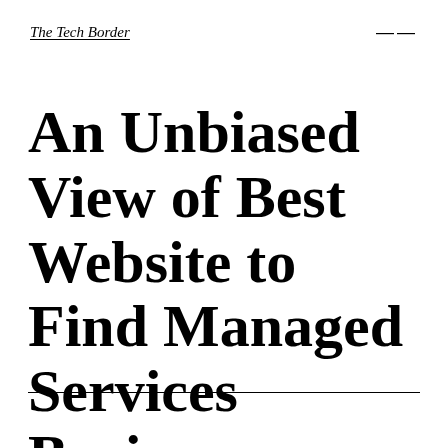The Tech Border
An Unbiased View of Best Website to Find Managed Services Business Information